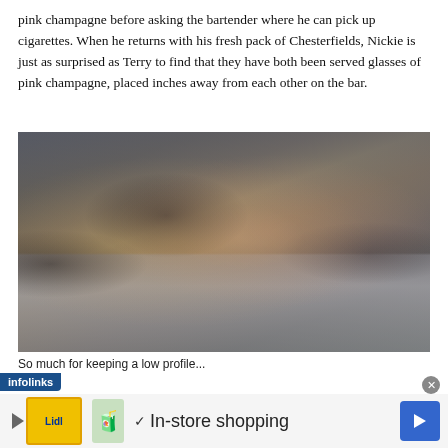pink champagne before asking the bartender where he can pick up cigarettes. When he returns with his fresh pack of Chesterfields, Nickie is just as surprised as Terry to find that they have both been served glasses of pink champagne, placed inches away from each other on the bar.
[Figure (photo): A movie still showing a man in a tuxedo and a woman in an off-shoulder pink gown sitting at a bar, with other patrons visible in the background.]
So much for keeping a low profile...
[Figure (screenshot): An infolinks advertisement banner showing a Lidl store advertisement with text 'In-store shopping' and a blue navigation arrow icon on the right.]